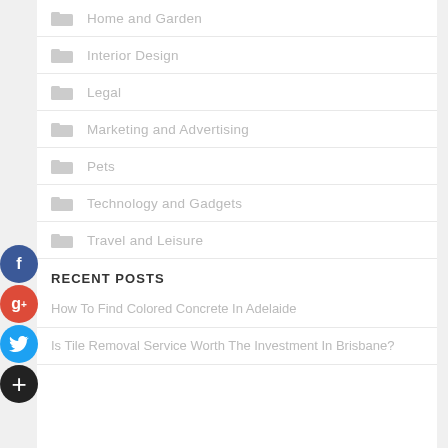Home and Garden
Interior Design
Legal
Marketing and Advertising
Pets
Technology and Gadgets
Travel and Leisure
RECENT POSTS
How To Find Colored Concrete In Adelaide
Is Tile Removal Service Worth The Investment In Brisbane?